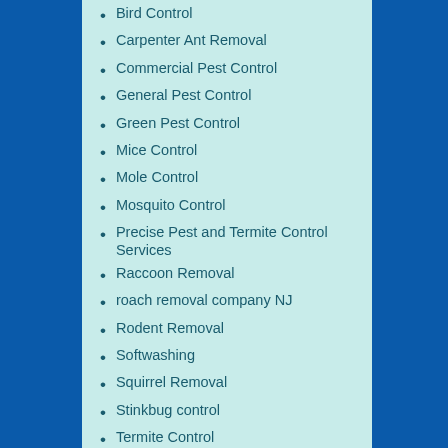Bird Control
Carpenter Ant Removal
Commercial Pest Control
General Pest Control
Green Pest Control
Mice Control
Mole Control
Mosquito Control
Precise Pest and Termite Control Services
Raccoon Removal
roach removal company NJ
Rodent Removal
Softwashing
Squirrel Removal
Stinkbug control
Termite Control
Tick Control
Uncategorized